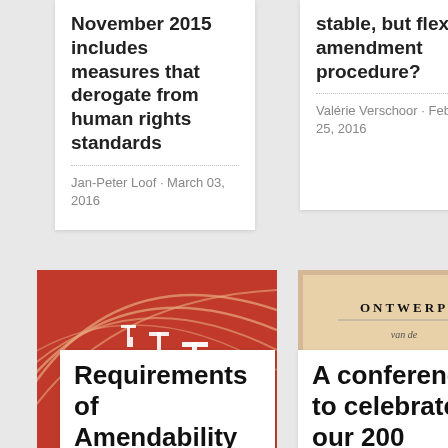November 2015 includes measures that derogate from human rights standards
Jan-Peter Loof · March 03, 2016
stable, but flexible amendment procedure?
Valérie Verschoor · February 25, 2016
[Figure (photo): Red athletics track with white hurdles viewed from low angle]
Requirements of Amendability in Global Constitutional
[Figure (photo): Old document titled ONTWERP GRONDWET KONINGRIJK DER NEDERLANDEN]
A conference to celebrate our 200